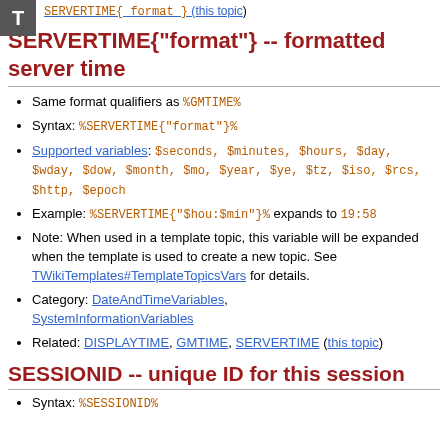SERVERTIME{ format } (this topic)
SERVERTIME{"format"} -- formatted server time
Same format qualifiers as %GMTIME%
Syntax: %SERVERTIME{"format"}%
Supported variables: $seconds, $minutes, $hours, $day, $wday, $dow, $month, $mo, $year, $ye, $tz, $iso, $rcs, $http, $epoch
Example: %SERVERTIME{"$hou:$min"}% expands to 19:58
Note: When used in a template topic, this variable will be expanded when the template is used to create a new topic. See TWikiTemplates#TemplateTopicsVars for details.
Category: DateAndTimeVariables, SystemInformationVariables
Related: DISPLAYTIME, GMTIME, SERVERTIME (this topic)
SESSIONID -- unique ID for this session
Syntax: %SESSIONID%